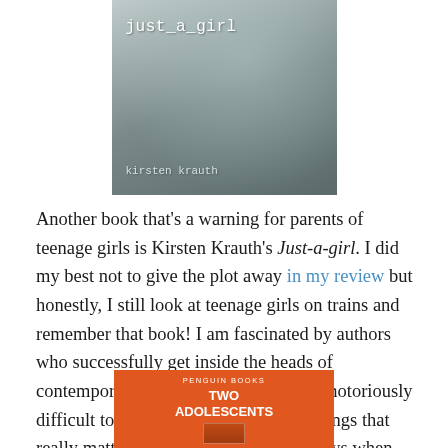[Figure (photo): Book cover of 'just_a_girl' by Kirsten Krauth, showing a muted teal/grey close-up of a face with monospace white text for title and author]
Another book that's a warning for parents of teenage girls is Kirsten Krauth's Just-a-girl. I did my best not to give the plot away in my review but honestly, I still look at teenage girls on trains and remember that book! I am fascinated by authors who successfully get inside the heads of contemporary adolescents because it is notoriously difficult to get them to talk about the things that really matter – and even harder these days when they are permanently plugged into devices of one sort or another.
[Figure (photo): Book cover of 'Two Adolescents' Penguin Books edition, orange cover with white text]